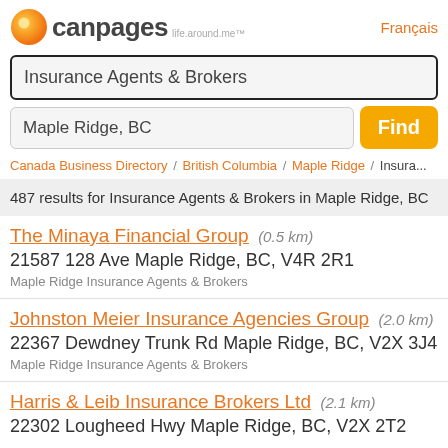[Figure (logo): Canpages logo with orange circle icon and text 'canpages life.around.me']
Français
Insurance Agents & Brokers
Maple Ridge, BC
Find
Canada Business Directory / British Columbia / Maple Ridge / Insura...
487 results for Insurance Agents & Brokers in Maple Ridge, BC
The Minaya Financial Group (0.5 km)
21587 128 Ave Maple Ridge, BC, V4R 2R1
Maple Ridge Insurance Agents & Brokers
Johnston Meier Insurance Agencies Group (2.0 km)
22367 Dewdney Trunk Rd Maple Ridge, BC, V2X 3J4
Maple Ridge Insurance Agents & Brokers
Harris & Leib Insurance Brokers Ltd (2.1 km)
22302 Lougheed Hwy Maple Ridge, BC, V2X 2T2